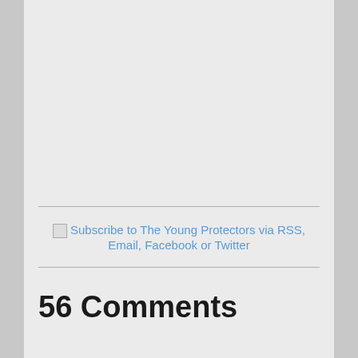[Figure (other): Broken/missing image placeholder with alt text: Subscribe to The Young Protectors via RSS, Email, Facebook or Twitter]
Subscribe to The Young Protectors via RSS, Email, Facebook or Twitter
56 Comments